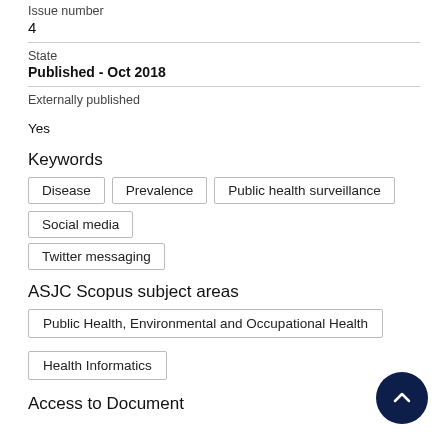Issue number
4
State
Published - Oct 2018
Externally published
Yes
Keywords
Disease
Prevalence
Public health surveillance
Social media
Twitter messaging
ASJC Scopus subject areas
Public Health, Environmental and Occupational Health
Health Informatics
Access to Document